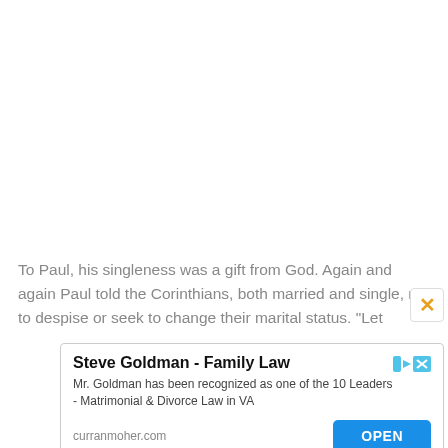To Paul, his singleness was a gift from God. Again and again Paul told the Corinthians, both married and single, not to despise or seek to change their marital status. "Let
[Figure (other): Advertisement box for Steve Goldman - Family Law. Title: 'Steve Goldman - Family Law'. Description: 'Mr. Goldman has been recognized as one of the 10 Leaders - Matrimonial & Divorce Law in VA'. Domain: curranmoher.com. Button: OPEN.]